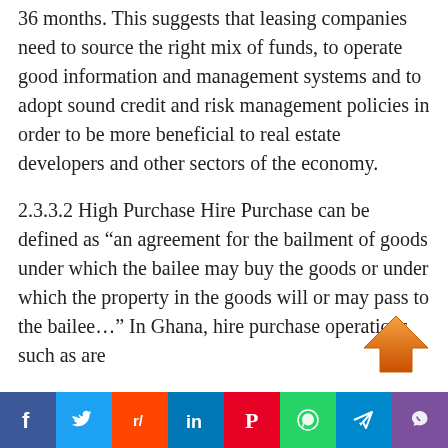36 months. This suggests that leasing companies need to source the right mix of funds, to operate good information and management systems and to adopt sound credit and risk management policies in order to be more beneficial to real estate developers and other sectors of the economy.
2.3.3.2 High Purchase
Hire Purchase can be defined as “an agreement for the bailment of goods under which the bailee may buy the goods or under which the property in the goods will or may pass to the bailee…” In Ghana, hire purchase operations such as are